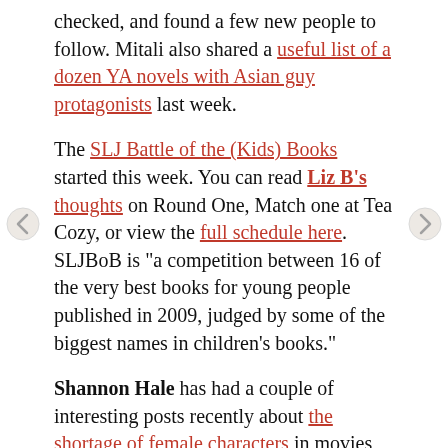checked, and found a few new people to follow. Mitali also shared a useful list of a dozen YA novels with Asian guy protagonists last week.
The SLJ Battle of the (Kids) Books started this week. You can read Liz B's thoughts on Round One, Match one at Tea Cozy, or view the full schedule here. SLJBoB is "a competition between 16 of the very best books for young people published in 2009, judged by some of the biggest names in children's books."
Shannon Hale has had a couple of interesting posts recently about the shortage of female characters in movies these days (especially animated movies), and what, if anything, concerned parties can do about this. She says: "what changes things is money. Even more